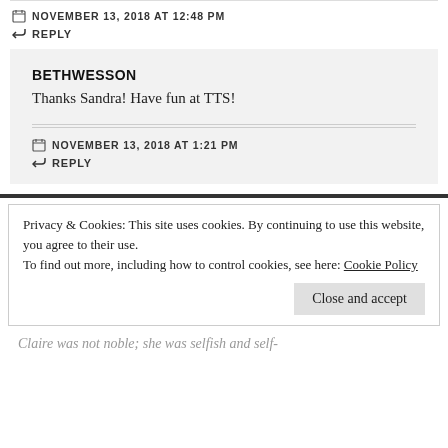NOVEMBER 13, 2018 AT 12:48 PM
REPLY
BETHWESSON
Thanks Sandra! Have fun at TTS!
NOVEMBER 13, 2018 AT 1:21 PM
REPLY
Privacy & Cookies: This site uses cookies. By continuing to use this website, you agree to their use.
To find out more, including how to control cookies, see here: Cookie Policy
Close and accept
Claire was not noble; she was selfish and self-